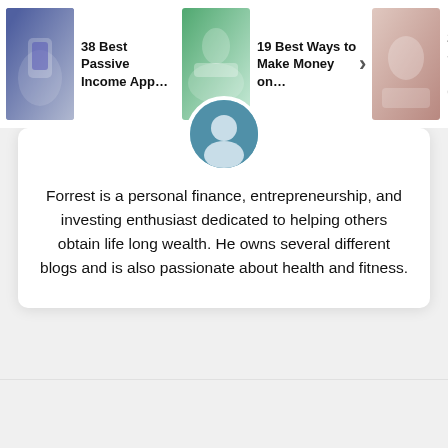[Figure (screenshot): Top navigation bar showing article cards: '38 Best Passive Income App…', '19 Best Ways to Make Money on…', '28 Easy Passive Si… Hustles (2…' with thumbnail images and a right arrow button]
Forrest is a personal finance, entrepreneurship, and investing enthusiast dedicated to helping others obtain life long wealth. He owns several different blogs and is also passionate about health and fitness.